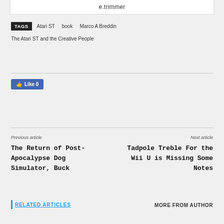e.trimmer
TAGS  Atari ST  book  Marco A Breddin  The Atari ST and the Creative People
[Figure (other): Blue Facebook Like button showing thumbs up icon and Like 0 text]
Previous article
The Return of Post-Apocalypse Dog Simulator, Buck
Next article
Tadpole Treble For the Wii U is Missing Some Notes
RELATED ARTICLES
MORE FROM AUTHOR